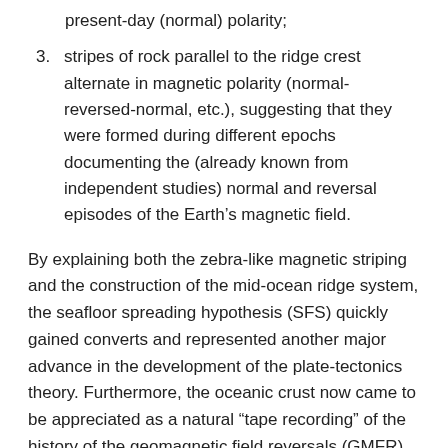present-day (normal) polarity;
3. stripes of rock parallel to the ridge crest alternate in magnetic polarity (normal-reversed-normal, etc.), suggesting that they were formed during different epochs documenting the (already known from independent studies) normal and reversal episodes of the Earth’s magnetic field.
By explaining both the zebra-like magnetic striping and the construction of the mid-ocean ridge system, the seafloor spreading hypothesis (SFS) quickly gained converts and represented another major advance in the development of the plate-tectonics theory. Furthermore, the oceanic crust now came to be appreciated as a natural “tape recording” of the history of the geomagnetic field reversals (GMFR) of the Earth’s magnetic field. Today, extensive studies are dedicated to the calibration of the normal-reversal patterns in the